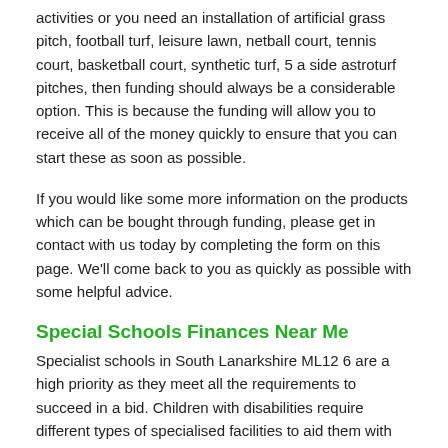activities or you need an installation of artificial grass pitch, football turf, leisure lawn, netball court, tennis court, basketball court, synthetic turf, 5 a side astroturf pitches, then funding should always be a considerable option. This is because the funding will allow you to receive all of the money quickly to ensure that you can start these as soon as possible.
If you would like some more information on the products which can be bought through funding, please get in contact with us today by completing the form on this page. We'll come back to you as quickly as possible with some helpful advice.
Special Schools Finances Near Me
Specialist schools in South Lanarkshire ML12 6 are a high priority as they meet all the requirements to succeed in a bid. Children with disabilities require different types of specialised facilities to aid them with their learning when compared to other schools. The amount of equipment that can be obtained by being successful with grant funding is endless and our software is updated in real time showing all the latest up to date information about grants that match your criteria. This may include items such as; sports